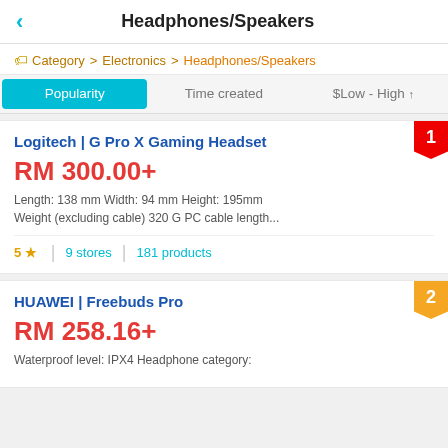Headphones/Speakers
Category > Electronics > Headphones/Speakers
Popularity  Time created  $Low - High
Logitech | G Pro X Gaming Headset
RM 300.00+
Length: 138 mm Width: 94 mm Height: 195mm Weight (excluding cable) 320 G PC cable length...
5★  9 stores  181 products
HUAWEI | Freebuds Pro
RM 258.16+
Waterproof level: IPX4 Headphone category: